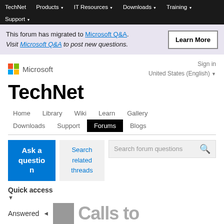TechNet  Products  IT Resources  Downloads  Training  Support
This forum has migrated to Microsoft Q&A. Visit Microsoft Q&A to post new questions. Learn More
[Figure (logo): Microsoft logo with four colored squares and Microsoft text]
Sign in
United States (English)
TechNet
Home  Library  Wiki  Learn  Gallery  Downloads  Support  Forums  Blogs
Ask a question
Search related threads
Search forum questions
Quick access
Answered
Calls to